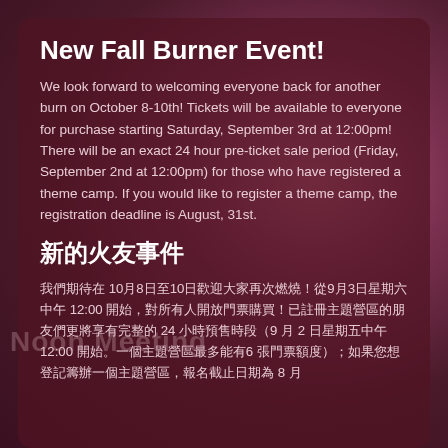New Fall Burner Event!
We look forward to welcoming everyone back for another burn on October 8-10th! Tickets will be available to everyone for purchase starting Saturday, September 3rd at 12:00pm! There will be an exact 24 hour pre-ticket sale period (Friday, September 2nd at 12:00pm) for those who have registered a theme camp. If you would like to register a theme camp, the registration deadline is August, 31st.
新的火友事件
我們期待在 10月8日至10日歡迎大家再次燃燒！從9月3日星期六中午 12:00 開始，對所有人開放門票購買！已註冊主題營區的朋友們更將享有完整的 24 小時預售時段（9 月 2 日星期五中午 12:00 開始。一個主題營區最多能有6 張門票額度）；如果您想登記籌辦一個主題營區，報名截止日期為 8 月